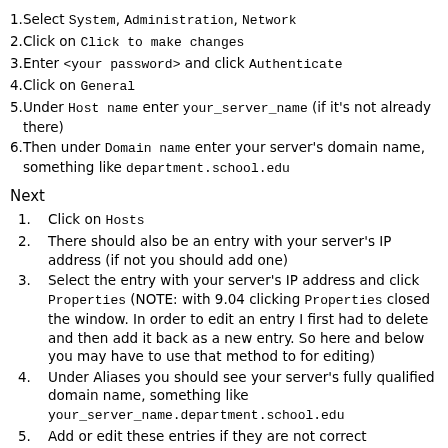1. Select System, Administration, Network
2. Click on Click to make changes
3. Enter <your password> and click Authenticate
4. Click on General
5. Under Host name enter your_server_name (if it's not already there)
6. Then under Domain name enter your server's domain name, something like department.school.edu
Next
1. Click on Hosts
2. There should also be an entry with your server's IP address (if not you should add one)
3. Select the entry with your server's IP address and click Properties (NOTE: with 9.04 clicking Properties closed the window. In order to edit an entry I first had to delete and then add it back as a new entry. So here and below you may have to use that method to for editing)
4. Under Aliases you should see your server's fully qualified domain name, something like your_server_name.department.school.edu
5. Add or edit these entries if they are not correct
6. Then click OK
7. And click Close to close Network settings